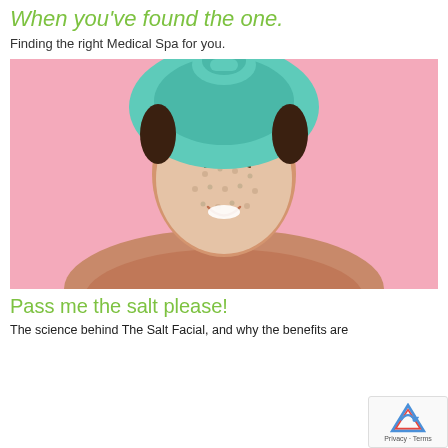When you've found the one.
Finding the right Medical Spa for you.
[Figure (photo): Smiling woman with a teal towel wrapped on her head and a salt/sugar scrub face mask on a pink background.]
Pass me the salt please!
The science behind The Salt Facial, and why the benefits are